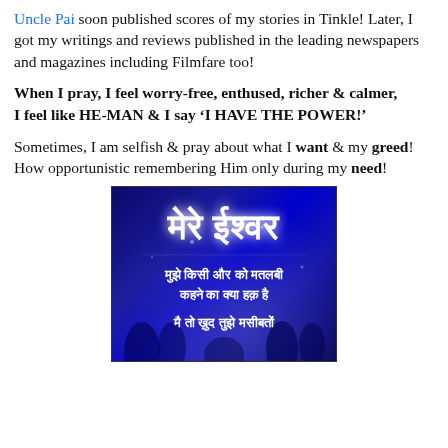Uncle Pai soon published scores of my stories in Tinkle! Later, I got my writings and reviews published in the leading newspapers and magazines including Filmfare too!
When I pray, I feel worry-free, enthused, richer & calmer, I feel like HE-MAN & I say 'I HAVE THE POWER!'
Sometimes, I am selfish & pray about what I want & my greed! How opportunistic remembering Him only during my need!
[Figure (illustration): Dark blue background image with Hindi text. Large white bold text at top reads 'मेरे ईश्वर'. Below in smaller white text: 'मुझे किसी और को मतलबी कहने का क्या हक़ है' and 'मै तो ख़ुद तुझे मसीबतों'. Decorative silhouettes of trees/plants at bottom.]